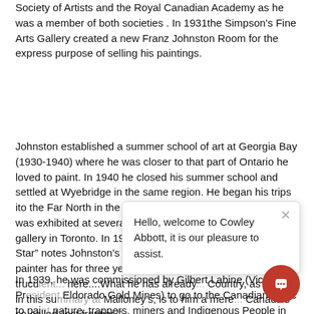Society of Artists and the Royal Canadian Academy as he was a member of both societies . In 1931the Simpson's Fine Arts Gallery created a new Franz Johnston Room for the express purpose of selling his paintings.
Johnston established a summer school of art at Georgia Bay (1930-1940) where he was closer to that part of Ontario he loved to paint. In 1940 he closed his summer school and settled at Wyebridge in the same region. He began his trips ito the Far North in the thirties and his work of this period was exhibited at several galleries including the Malloney gallery in Toronto. In 1938 Augustus Bridle in “The Toronto Star” notes Johnston's exhibit at Malloney's as follo... “Complete for the part the painter has for three years b... shivering spruces and trucu... here....What he has already... Country, as shown in this su... Malloney's, is to him a mere... Canada's so-called 'lost frontier.'”
In 1939, he was commissioned by Gilbert Labine (Vice-Pr... Eldorado Gold Mines) to go to the Canadian Arctic to pai... nature, trappers, miners and Indigenous People in all seaso... and after five months completed 100 sketches. Working in 35 to
[Figure (screenshot): A chat popup overlay with an X close button and the message 'Hello, welcome to Cowley Abbott, it is our pleasure to assist.' and a red circular chat button at the bottom right.]